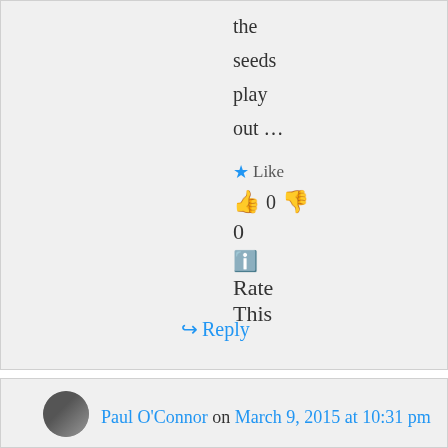the
seeds
play
out …
★ Like
👍 0 👎
0
ℹ Rate
This
↪ Reply
Paul O'Connor on March 9, 2015 at 10:31 pm